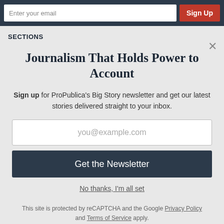Enter your email
Sign Up
SECTIONS
Journalism That Holds Power to Account
Sign up for ProPublica's Big Story newsletter and get our latest stories delivered straight to your inbox.
you@example.com
Get the Newsletter
No thanks, I'm all set
This site is protected by reCAPTCHA and the Google Privacy Policy and Terms of Service apply.